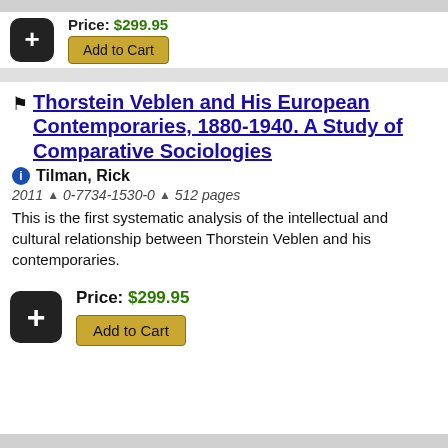Price: $299.95
Add to Cart
Thorstein Veblen and His European Contemporaries, 1880-1940. A Study of Comparative Sociologies
Tilman, Rick
2011 ^ 0-7734-1530-0 ^ 512 pages
This is the first systematic analysis of the intellectual and cultural relationship between Thorstein Veblen and his contemporaries.
Price: $299.95
Add to Cart